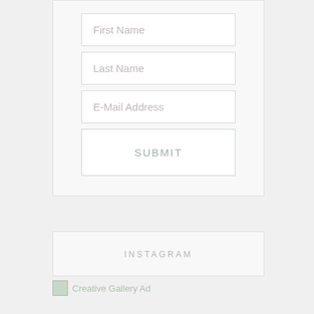[Figure (screenshot): Web form with First Name, Last Name, E-Mail Address input fields and a SUBMIT button, inside a light gray container]
INSTAGRAM
[Figure (other): Creative Gallery Ad image placeholder with text label]